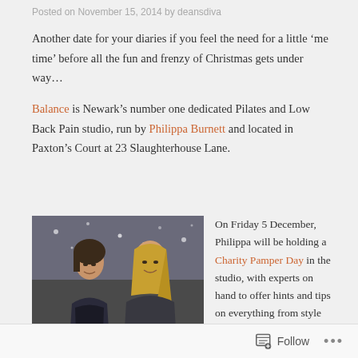Posted on November 15, 2014 by deansdiva
Another date for your diaries if you feel the need for a little ‘me time’ before all the fun and frenzy of Christmas gets under way…
Balance is Newark’s number one dedicated Pilates and Low Back Pain studio, run by Philippa Burnett and located in Paxton’s Court at 23 Slaughterhouse Lane.
[Figure (photo): Two women in dark dresses smiling, one with short dark hair and one with long blonde hair, against a sparkly background]
On Friday 5 December, Philippa will be holding a Charity Pamper Day in the studio, with experts on hand to offer hints and tips on everything from style and skincare to massage
Follow ...